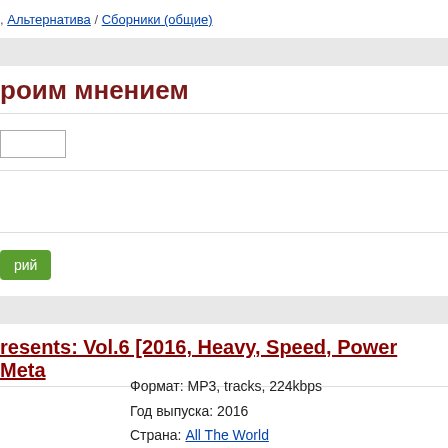, Альтернатива / Сборники (общие)
роим мнением
Формат: MP3, tracks, 224kbps
Год выпуска: 2016
Страна: All The World
Жанр: Heavy, Speed, Power Metal
Продолжительность: 07:20:00
resents: Vol.6 [2016, Heavy, Speed, Power Meta